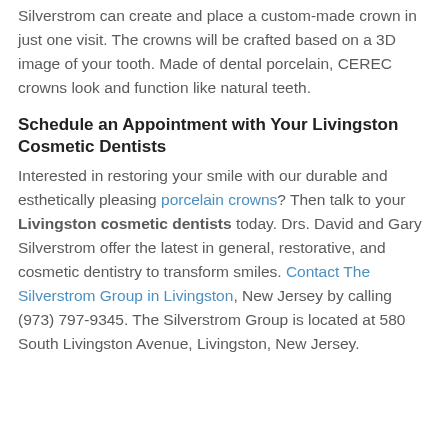Silverstrom can create and place a custom-made crown in just one visit. The crowns will be crafted based on a 3D image of your tooth. Made of dental porcelain, CEREC crowns look and function like natural teeth.
Schedule an Appointment with Your Livingston Cosmetic Dentists
Interested in restoring your smile with our durable and esthetically pleasing porcelain crowns? Then talk to your Livingston cosmetic dentists today. Drs. David and Gary Silverstrom offer the latest in general, restorative, and cosmetic dentistry to transform smiles. Contact The Silverstrom Group in Livingston, New Jersey by calling (973) 797-9345. The Silverstrom Group is located at 580 South Livingston Avenue, Livingston, New Jersey.